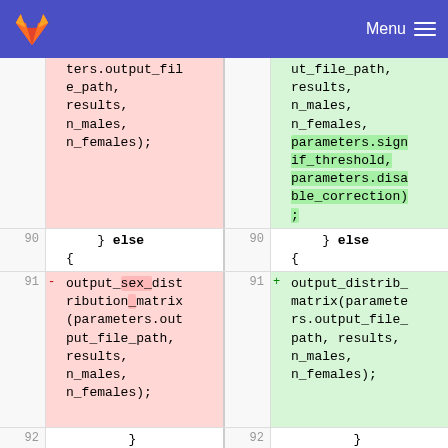GitLab Menu
[Figure (screenshot): GitLab diff view showing code changes. Left (deleted) side shows output_sex_distribution_matrix call; right (added) side shows output_distrib_matrix call with additional parameters parameters.signif_threshold and parameters.disable_correction. Line numbers 89-93 visible.]